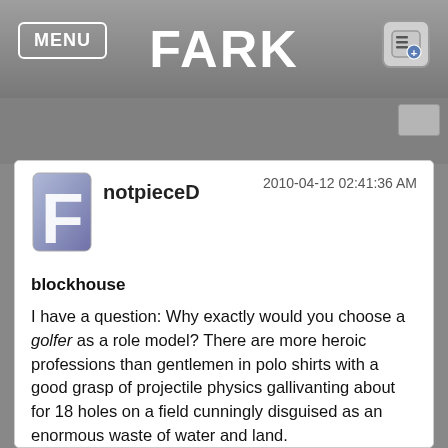MENU | FARK
notpieceD
2010-04-12 02:41:36 AM
blockhouse
I have a question: Why exactly would you choose a golfer as a role model? There are more heroic professions than gentlemen in polo shirts with a good grasp of projectile physics gallivanting about for 18 holes on a field cunningly disguised as an enormous waste of water and land.
Not that I dislike golf, by the way. Just golf courses.
Anyway, not for me to teach you how to parent, but if you're looking to professional athletes as role models for your children - should you ever have any - I'd say you're already starting off